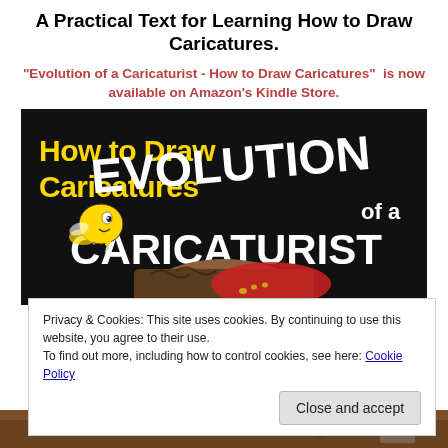A Practical Text for Learning How to Draw Caricatures.
"Evolution of a Caricaturist - How to Draw Caricatures"  is now available on Amazon's Kindle Store.
[Figure (illustration): Book cover for 'How to Draw Caricatures: Evolution of a Caricaturist' with black background, yellow text 'How to Draw Caricatures', white bold text 'EVOLUTION of a CARICATURIST', and a cartoon bee character holding a pencil, with a person's head visible at the bottom.]
Privacy & Cookies: This site uses cookies. By continuing to use this website, you agree to their use.
To find out more, including how to control cookies, see here: Cookie Policy
Close and accept